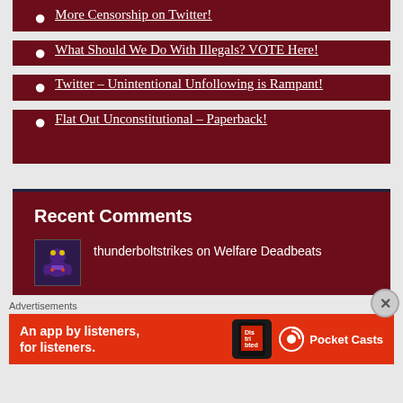More Censorship on Twitter!
What Should We Do With Illegals? VOTE Here!
Twitter – Unintentional Unfollowing is Rampant!
Flat Out Unconstitutional – Paperback!
Recent Comments
thunderboltstrikes on Welfare Deadbeats
Advertisements
[Figure (infographic): Pocket Casts advertisement banner: red background, text 'An app by listeners, for listeners.' with phone image and Pocket Casts logo]